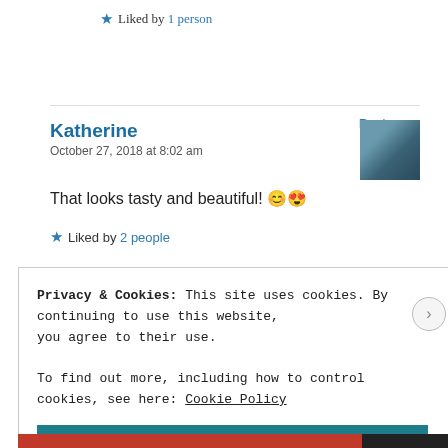★ Liked by 1 person
Reply
Katherine
October 27, 2018 at 8:02 am
That looks tasty and beautiful! 😊😍
★ Liked by 2 people
Privacy & Cookies: This site uses cookies. By continuing to use this website, you agree to their use.
To find out more, including how to control cookies, see here: Cookie Policy
Close and accept